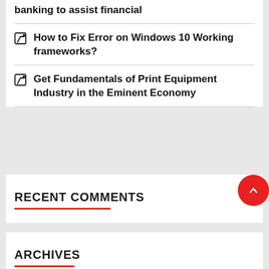banking to assist financial
How to Fix Error on Windows 10 Working frameworks?
Get Fundamentals of Print Equipment Industry in the Eminent Economy
RECENT COMMENTS
ARCHIVES